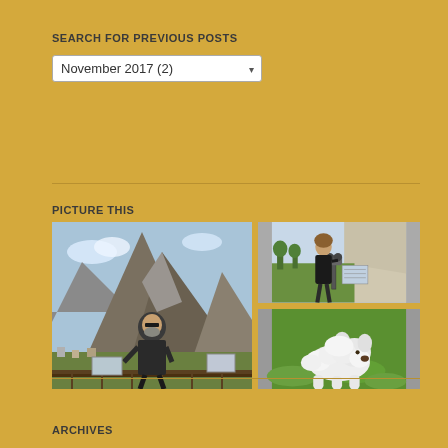SEARCH FOR PREVIOUS POSTS
November 2017 (2)
[Figure (photo): Three travel photos arranged in a grid: left side shows a large photo of a bearded man standing on a viewing platform with a dramatic rocky mountain in the background; top right shows a woman standing at a telescope/binoculars on a mountain overlook; bottom right shows a large white fluffy dog (possibly a Maremma or Great Pyrenees puppy) on green grass]
PICTURE THIS
ARCHIVES